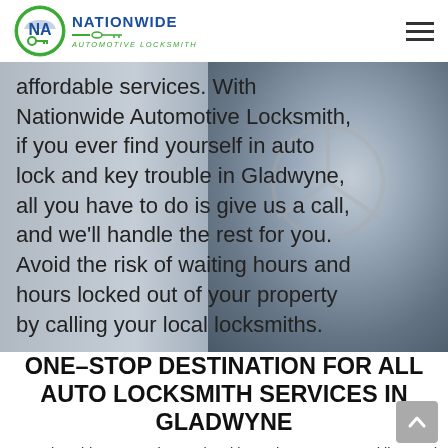Nationwide Automotive Locksmith
[Figure (photo): Background photo of a car key fob / Mercedes steering wheel area, partially visible on the right side of the hero banner. Gradient grey overlay on left.]
affordable services. With Nationwide Automotive Locksmith, if you ever find yourself in auto lock and key trouble in Gladwyne, all you have to do is give us a call, and we'll handle the rest for you. Avoid the risk of waiting hours and hours locked out of your property by calling your local locksmiths.
ONE-STOP DESTINATION FOR ALL AUTO LOCKSMITH SERVICES IN GLADWYNE
At Nationwide Automotive Locksmith, we have expert and licensed locksmiths who have experience in all type of auto locksmith services. You can choose from the following services: